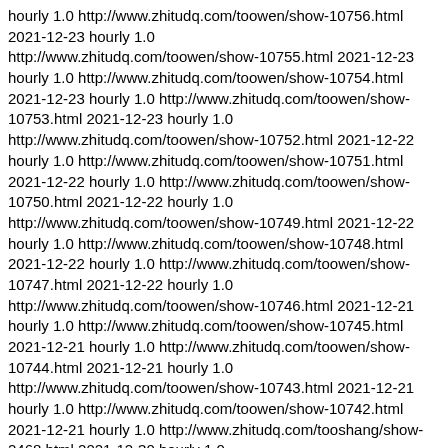hourly 1.0 http://www.zhitudq.com/toowen/show-10757.html 2021-12-23 hourly 1.0 http://www.zhitudq.com/toowen/show-10756.html 2021-12-23 hourly 1.0 http://www.zhitudq.com/toowen/show-10755.html 2021-12-23 hourly 1.0 http://www.zhitudq.com/toowen/show-10754.html 2021-12-23 hourly 1.0 http://www.zhitudq.com/toowen/show-10753.html 2021-12-23 hourly 1.0 http://www.zhitudq.com/toowen/show-10752.html 2021-12-22 hourly 1.0 http://www.zhitudq.com/toowen/show-10751.html 2021-12-22 hourly 1.0 http://www.zhitudq.com/toowen/show-10750.html 2021-12-22 hourly 1.0 http://www.zhitudq.com/toowen/show-10749.html 2021-12-22 hourly 1.0 http://www.zhitudq.com/toowen/show-10748.html 2021-12-22 hourly 1.0 http://www.zhitudq.com/toowen/show-10747.html 2021-12-22 hourly 1.0 http://www.zhitudq.com/toowen/show-10746.html 2021-12-21 hourly 1.0 http://www.zhitudq.com/toowen/show-10745.html 2021-12-21 hourly 1.0 http://www.zhitudq.com/toowen/show-10744.html 2021-12-21 hourly 1.0 http://www.zhitudq.com/toowen/show-10743.html 2021-12-21 hourly 1.0 http://www.zhitudq.com/toowen/show-10742.html 2021-12-21 hourly 1.0 http://www.zhitudq.com/tooshang/show-2468.html 2021-12-30 hourly 1.0
▨▨▨▨╋▨▨▨Z▨▨ʊ▨▨▨▨▨▨▨,▨▨▨▨▨▨▨▨▨▨▨ʊ,▨▨▨▨h▨▨▨ħu▨T,▨▨▨▨ʃ▨▨▨Z▨▨▨▨